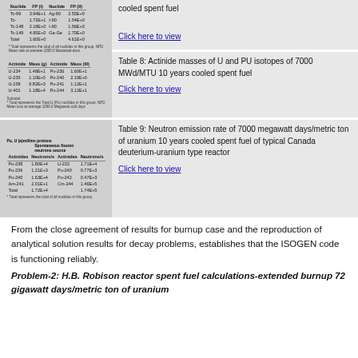[Figure (table-as-image): Thumbnail of a table showing nuclide masses for spent fuel (top card, partial view at top of page)]
cooled spent fuel
Click here to view
[Figure (table-as-image): Thumbnail of Table 8: Actinide masses of U and PU isotopes of 7000 MWd/MTU 10 years cooled spent fuel]
Table 8: Actinide masses of U and PU isotopes of 7000 MWd/MTU 10 years cooled spent fuel
Click here to view
[Figure (table-as-image): Thumbnail of Table 9: Neutron emission rate of 7000 megawatt days/metric ton of uranium 10 years cooled spent fuel of typical Canada deuterium-uranium type reactor]
Table 9: Neutron emission rate of 7000 megawatt days/metric ton of uranium 10 years cooled spent fuel of typical Canada deuterium-uranium type reactor
Click here to view
From the close agreement of results for burnup case and the reproduction of analytical solution results for decay problems, establishes that the ISOGEN code is functioning reliably.
Problem-2: H.B. Robison reactor spent fuel calculations-extended burnup 72 gigawatt days/metric ton of uranium